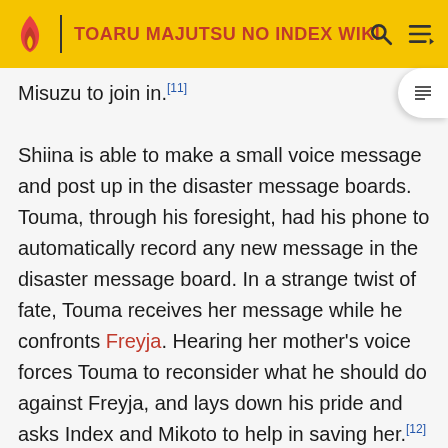TOARU MAJUTSU NO INDEX WIKI
Misuzu to join in.[11] Shiina is able to make a small voice message and post up in the disaster message boards. Touma, through his foresight, had his phone to automatically record any new message in the disaster message board. In a strange twist of fate, Touma receives her message while he confronts Freyja. Hearing her mother's voice forces Touma to reconsider what he should do against Freyja, and lays down his pride and asks Index and Mikoto to help in saving her.[12]
Shifting and Fluctuating World
In the first recreation of the world by Othinus, known as the Version_Alpha world in-text, where she has changed